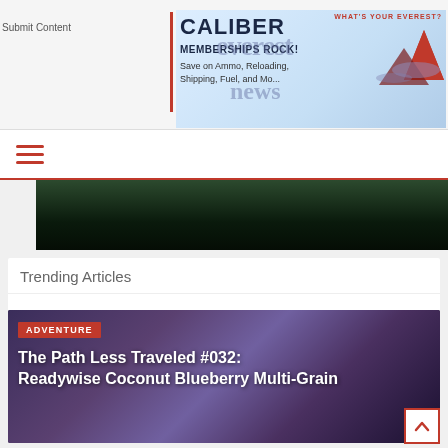Submit Content
[Figure (illustration): Caliber Memberships Rock advertisement banner with mountain/Everest News overlay graphics. Text: CALIBER, MEMBERSHIPS ROCK!, Save on Ammo, Reloading, Shipping, Fuel, and More. Overlaid with Everest news logo.]
WHAT'S YOUR EVEREST?
[Figure (illustration): Hamburger menu icon (three red horizontal lines)]
[Figure (photo): Dark forest/nature image band]
Trending Articles
[Figure (photo): Article card with purple-toned background showing Readywise food product. Badge: ADVENTURE. Title: The Path Less Traveled #032: Readywise Coconut Blueberry Multi-Grain]